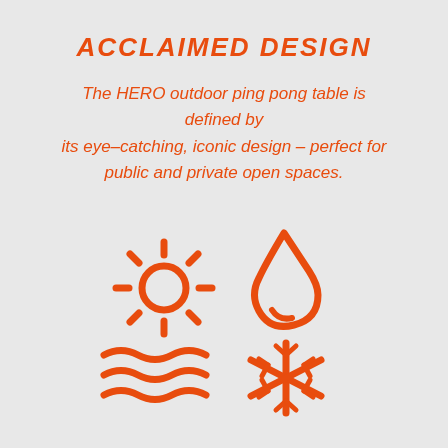ACCLAIMED DESIGN
The HERO outdoor ping pong table is defined by its eye-catching, iconic design - perfect for public and private open spaces.
[Figure (infographic): Four orange line icons: sun (top-left), water drop (top-right), wind/waves (bottom-left), snowflake (bottom-right), representing weather/climate resistance features.]